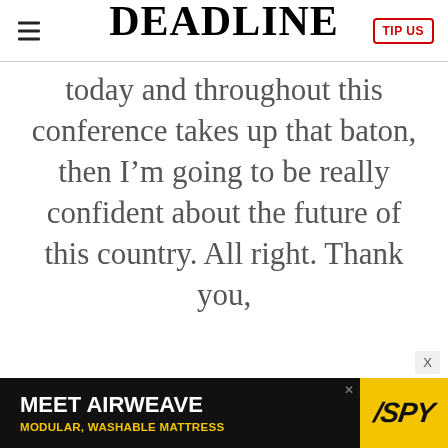DEADLINE
today and throughout this conference takes up that baton, then I'm going to be really confident about the future of this country. All right. Thank you,
[Figure (other): Advertisement banner: MEET AIRWEAVE - MODULAR, WASHABLE MATTRESS with SPY logo on yellow background]